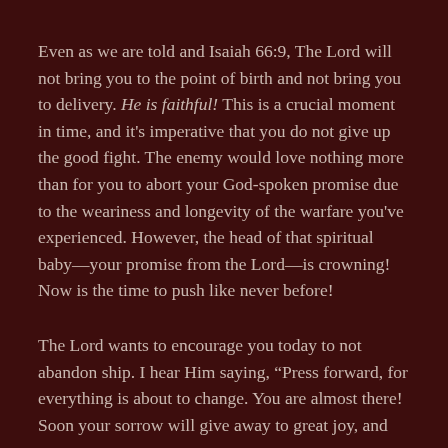Even as we are told and Isaiah 66:9, The Lord will not bring you to the point of birth and not bring you to delivery. He is faithful! This is a crucial moment in time, and it's imperative that you do not give up the good fight. The enemy would love nothing more than for you to abort your God-spoken promise due to the weariness and longevity of the warfare you've experienced. However, the head of that spiritual baby—your promise from the Lord—is crowning! Now is the time to push like never before!
The Lord wants to encourage you today to not abandon ship. I hear Him saying, “Press forward, for everything is about to change. You are almost there! Soon your sorrow will give away to great joy, and you